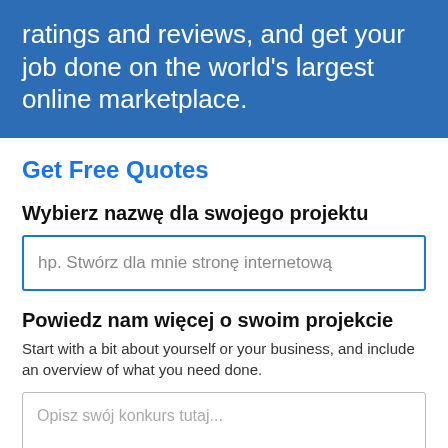ratings and reviews, and get your job done on the world's largest online marketplace.
Get Free Quotes
Wybierz nazwę dla swojego projektu
[Figure (screenshot): Text input field with blue border containing placeholder text: hp. Stwórz dla mnie stronę internetową]
Powiedz nam więcej o swoim projekcie
Start with a bit about yourself or your business, and include an overview of what you need done.
[Figure (screenshot): Textarea input box with placeholder text: Opisz swój konkurs tutaj...]